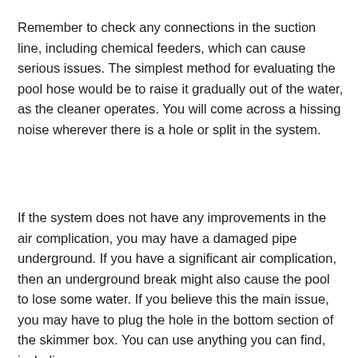Remember to check any connections in the suction line, including chemical feeders, which can cause serious issues. The simplest method for evaluating the pool hose would be to raise it gradually out of the water, as the cleaner operates. You will come across a hissing noise wherever there is a hole or split in the system.
If the system does not have any improvements in the air complication, you may have a damaged pipe underground. If you have a significant air complication, then an underground break might also cause the pool to lose some water. If you believe this the main issue, you may have to plug the hole in the bottom section of the skimmer box. You can use anything you can find, including a